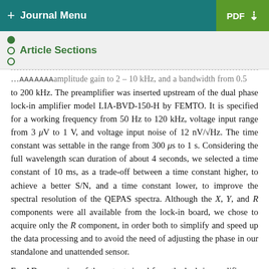+ Journal Menu | PDF (download)
Article Sections
...amplitude gain to 2-10 kHz, and a bandwidth from 0.5 to 200 kHz. The preamplifier was inserted upstream of the dual phase lock-in amplifier model LIA-BVD-150-H by FEMTO. It is specified for a working frequency from 50 Hz to 120 kHz, voltage input range from 3 μV to 1 V, and voltage input noise of 12 nV/√Hz. The time constant was settable in the range from 300 μs to 1 s. Considering the full wavelength scan duration of about 4 seconds, we selected a time constant of 10 ms, as a trade-off between a time constant higher, to achieve a better S/N, and a time constant lower, to improve the spectral resolution of the QEPAS spectra. Although the X, Y, and R components were all available from the lock-in board, we chose to acquire only the R component, in order both to simplify and speed up the data processing and to avoid the need of adjusting the phase in our standalone and unattended sensor.
For AD conversion of the output signal from the lock-in amplifier, we used a COTS multichannel multifunction data acquisition (DAQ) device: the NI USB-6212, by National...